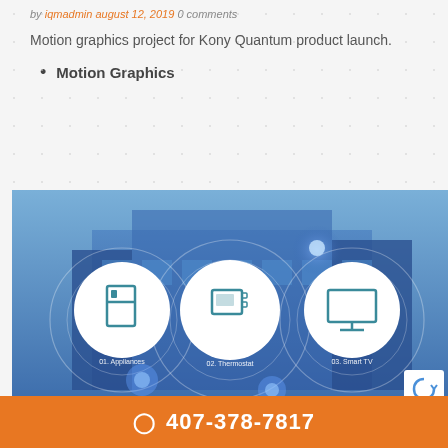by iqmadmin august 12, 2019 0 comments
Motion graphics project for Kony Quantum product launch.
Motion Graphics
[Figure (illustration): Smart home motion graphics image showing a blue-tinted house with three white circular icons: 01. Appliances (refrigerator icon), 02. Thermostat, 03. Smart TV, with concentric ring overlays and glowing nodes.]
407-378-7817